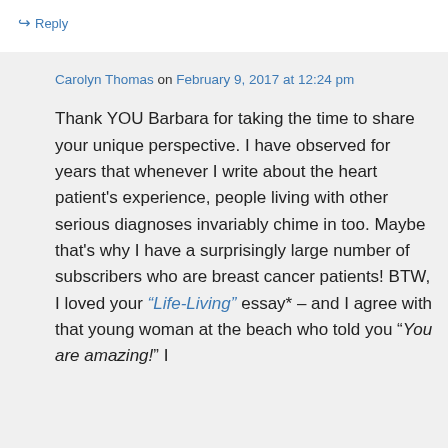↪ Reply
Carolyn Thomas on February 9, 2017 at 12:24 pm
Thank YOU Barbara for taking the time to share your unique perspective. I have observed for years that whenever I write about the heart patient's experience, people living with other serious diagnoses invariably chime in too. Maybe that's why I have a surprisingly large number of subscribers who are breast cancer patients! BTW, I loved your “Life-Living” essay* – and I agree with that young woman at the beach who told you “You are amazing!” I